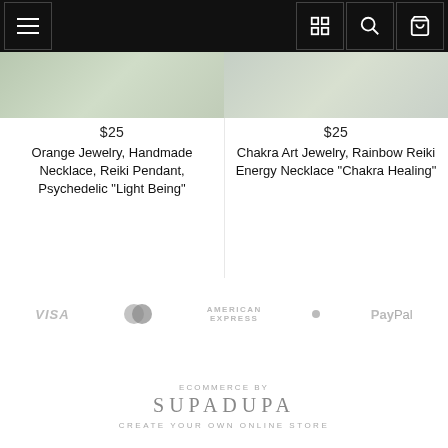[Figure (screenshot): Top navigation bar with hamburger menu on left, and grid/search/cart icons on right, dark background]
[Figure (photo): Product image strip showing two jewelry product photos side by side]
$25
Orange Jewelry, Handmade Necklace, Reiki Pendant, Psychedelic "Light Being"
$25
Chakra Art Jewelry, Rainbow Reiki Energy Necklace "Chakra Healing"
[Figure (logo): Payment method logos: VISA, Mastercard, American Express, a dot, PayPal]
ECOMMERCE BY
SUPADUPA
CREATE YOUR OWN ONLINE STORE